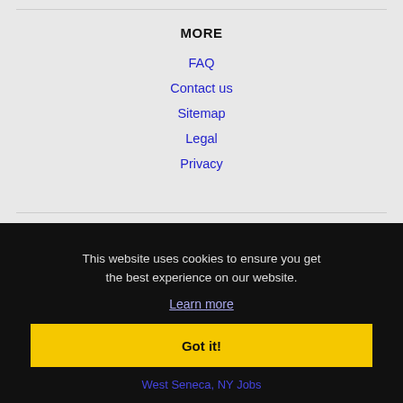MORE
FAQ
Contact us
Sitemap
Legal
Privacy
This website uses cookies to ensure you get the best experience on our website.
Learn more
Got it!
West Seneca, NY Jobs